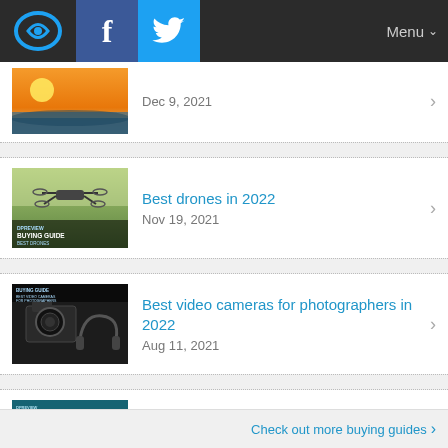DPReview — Menu
[Figure (screenshot): Partial thumbnail of a landscape/sunset photo]
Dec 9, 2021
[Figure (screenshot): Thumbnail showing a drone with 'BUYING GUIDE BEST DRONES' text]
Best drones in 2022
Nov 19, 2021
[Figure (screenshot): Thumbnail showing cameras and headphones with 'BUYING GUIDE BEST VIDEO CAMERAS FOR PHOTOGRAPHERS' text]
Best video cameras for photographers in 2022
Aug 11, 2021
[Figure (screenshot): Thumbnail showing a man and child with 'BUYING GUIDE BEST CAMERAS FOR INSTAGRAM' text]
Best cameras for Instagram in 2021
Aug 5, 2021
Check out more buying guides